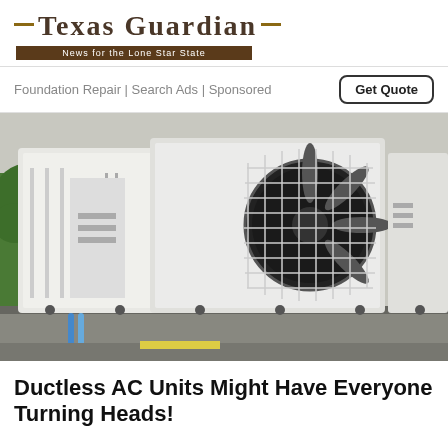Texas Guardian — News for the Lone Star State
Foundation Repair | Search Ads | Sponsored
Get Quote
[Figure (photo): Outdoor ductless AC units mounted on a metal rail bracket on the side of a building, with green shrubs visible to the left and blue refrigerant lines at the bottom.]
Ductless AC Units Might Have Everyone Turning Heads!